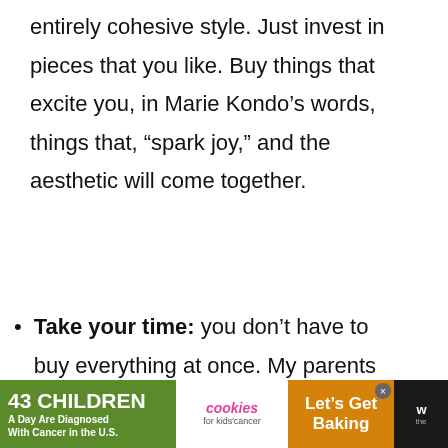entirely cohesive style. Just invest in pieces that you like. Buy things that excite you, in Marie Kondo’s words, things that, “spark joy,” and the aesthetic will come together.
Take your time: you don’t have to buy everything at once. My parents have been moving around the world and traveling to different countries for over 24 years and their house is a combination of all the different
[Figure (screenshot): Ad banner at bottom: green section '43 CHILDREN A Day Are Diagnosed With Cancer in the U.S.', white cookies for kids' cancer logo section, orange 'Let's Get Baking' section with close button, and dark mw logo]